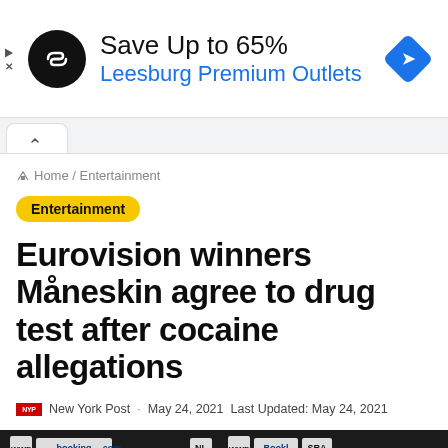[Figure (other): Advertisement banner: Save Up to 65% - Leesburg Premium Outlets with circular logo and blue diamond icon]
Home / Entertainment
Entertainment
Eurovision winners Måneskin agree to drug test after cocaine allegations
New York Post · May 24, 2021 Last Updated: May 24, 2021
[Figure (photo): Photo of Måneskin band members at Eurovision with booking.com and sponsor logos in background]